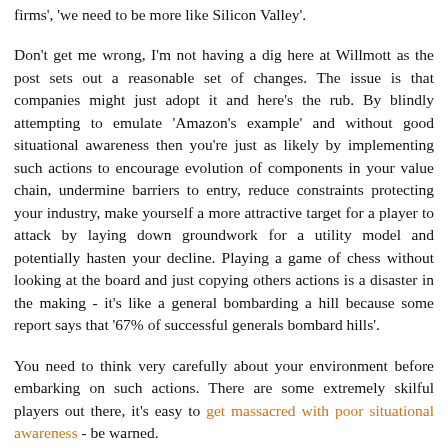firms', 'we need to be more like Silicon Valley'.
Don't get me wrong, I'm not having a dig here at Willmott as the post sets out a reasonable set of changes. The issue is that companies might just adopt it and here's the rub. By blindly attempting to emulate 'Amazon's example' and without good situational awareness then you're just as likely by implementing such actions to encourage evolution of components in your value chain, undermine barriers to entry, reduce constraints protecting your industry, make yourself a more attractive target for a player to attack by laying down groundwork for a utility model and potentially hasten your decline. Playing a game of chess without looking at the board and just copying others actions is a disaster in the making - it's like a general bombarding a hill because some report says that '67% of successful generals bombard hills'.
You need to think very carefully about your environment before embarking on such actions. There are some extremely skilful players out there, it's easy to get massacred with poor situational awareness - be warned.